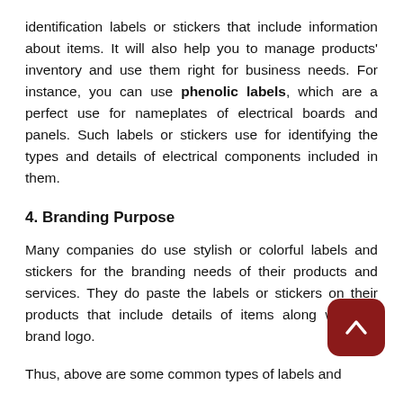identification labels or stickers that include information about items. It will also help you to manage products' inventory and use them right for business needs. For instance, you can use phenolic labels, which are a perfect use for nameplates of electrical boards and panels. Such labels or stickers use for identifying the types and details of electrical components included in them.
4. Branding Purpose
Many companies do use stylish or colorful labels and stickers for the branding needs of their products and services. They do paste the labels or stickers on their products that include details of items along with the brand logo.
Thus, above are some common types of labels and